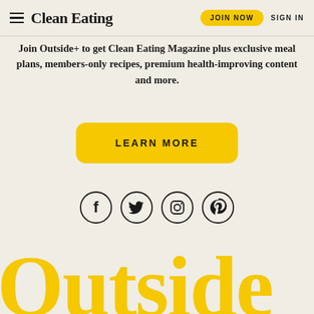Clean Eating | JOIN NOW | SIGN IN
Join Outside+ to get Clean Eating Magazine plus exclusive meal plans, members-only recipes, premium health-improving content and more.
LEARN MORE
[Figure (illustration): Four social media icons in circles: Facebook, Twitter, Instagram, Pinterest]
Outside